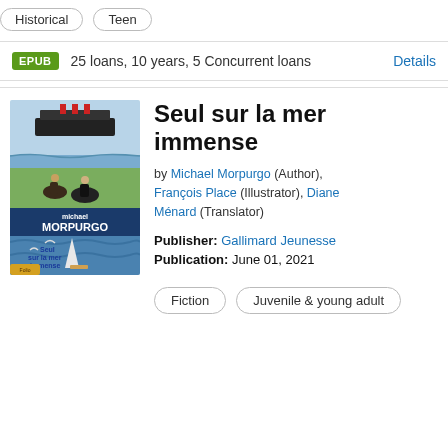Historical
Teen
EPUB  25 loans, 10 years, 5 Concurrent loans  Details
[Figure (illustration): Book cover of 'Seul sur la mer immense' by Michael Morpurgo, showing an ocean liner at top, horses and riders in middle, and a sailboat with seagulls at bottom. Author name Michael Morpurgo in bold white letters on dark blue, title in blue text.]
Seul sur la mer immense
by Michael Morpurgo (Author), François Place (Illustrator), Diane Ménard (Translator)
Publisher: Gallimard Jeunesse
Publication: June 01, 2021
Fiction
Juvenile & young adult